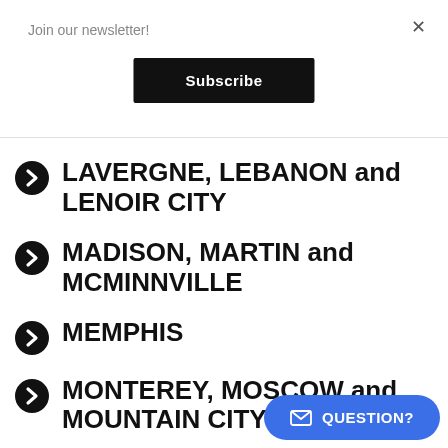Join our newsletter!
×
Subscribe
LAVERGNE, LEBANON and LENOIR CITY
MADISON, MARTIN and MCMINNVILLE
MEMPHIS
MONTEREY, MOSCOW and MOUNTAIN CITY
MT. JULIET…
QUESTION?